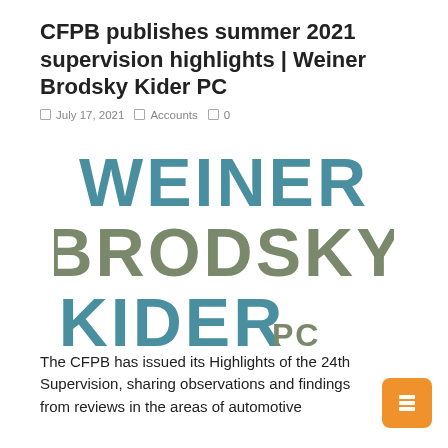CFPB publishes summer 2021 supervision highlights | Weiner Brodsky Kider PC
July 17, 2021  Accounts  0
[Figure (logo): Weiner Brodsky Kider PC law firm logo in stacked typographic style. 'WEINER' in teal/blue, 'BRODSKY' in olive/grey-green, 'KIDER' in teal/blue with 'PC' in smaller olive/grey-green text.]
The CFPB has issued its Highlights of the 24th Supervision, sharing observations and findings from reviews in the areas of automotive